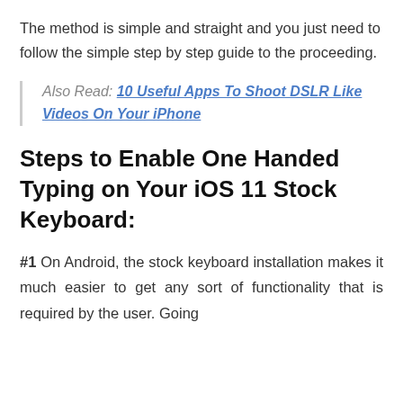The method is simple and straight and you just need to follow the simple step by step guide to the proceeding.
Also Read: 10 Useful Apps To Shoot DSLR Like Videos On Your iPhone
Steps to Enable One Handed Typing on Your iOS 11 Stock Keyboard:
#1 On Android, the stock keyboard installation makes it much easier to get any sort of functionality that is required by the user. Going